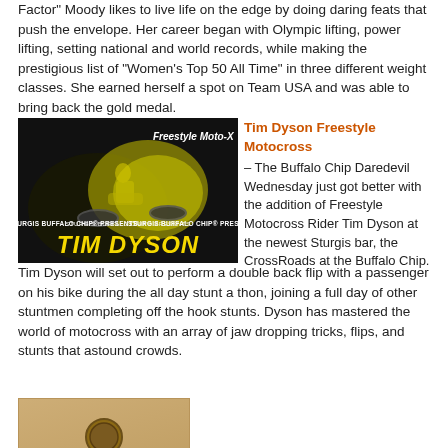Factor" Moody likes to live life on the edge by doing daring feats that push the envelope. Her career began with Olympic lifting, power lifting, setting national and world records, while making the prestigious list of "Women's Top 50 All Time" in three different weight classes. She earned herself a spot on Team USA and was able to bring back the gold medal.
[Figure (photo): A motocross rider performing a stunt. Black and yellow background. Text reads 'Freestyle Moto-X', 'STURGIS BUFFALO CHIP® PRESENTS', and 'TIM DYSON' in large yellow italic letters.]
Tim Dyson Freestyle Motocross – The Buffalo Chip Daredevil Wednesday just got better with the addition of Freestyle Motocross Rider Tim Dyson at the newest Sturgis bar, the CrossRoads at the Buffalo Chip. Tim Dyson will set out to perform a double back flip with a passenger on his bike during the all day stunt a thon, joining a full day of other stuntmen completing off the hook stunts. Dyson has mastered the world of motocross with an array of jaw dropping tricks, flips, and stunts that astound crowds.
[Figure (photo): A partially visible image with a tan/parchment background and a circular emblem or seal at the bottom of the page.]